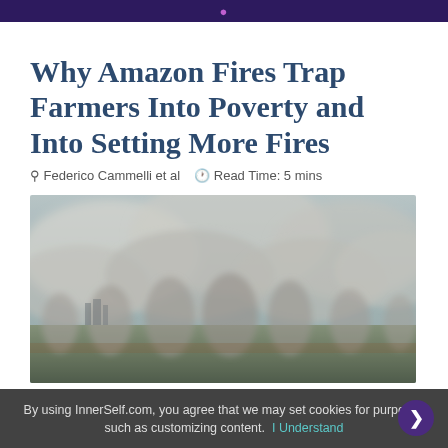InnerSelf
Why Amazon Fires Trap Farmers Into Poverty and Into Setting More Fires
Federico Cammelli et al   Read Time: 5 mins
[Figure (photo): Aerial photograph of Amazon fires with thick white smoke rising from burning fields and forest, with a city visible in the background through the haze.]
By using InnerSelf.com, you agree that we may set cookies for purposes such as customizing content. I Understand